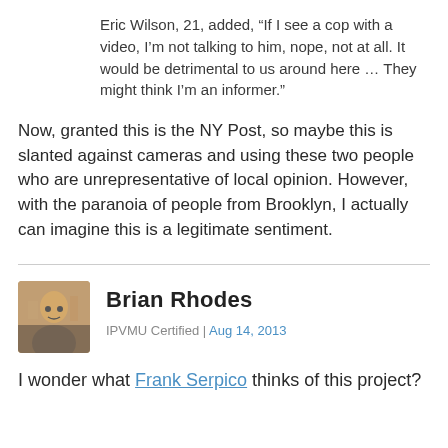Eric Wilson, 21, added, “If I see a cop with a video, I’m not talking to him, nope, not at all. It would be detrimental to us around here … They might think I’m an informer.”
Now, granted this is the NY Post, so maybe this is slanted against cameras and using these two people who are unrepresentative of local opinion. However, with the paranoia of people from Brooklyn, I actually can imagine this is a legitimate sentiment.
Brian Rhodes
IPVMU Certified | Aug 14, 2013
I wonder what Frank Serpico thinks of this project?